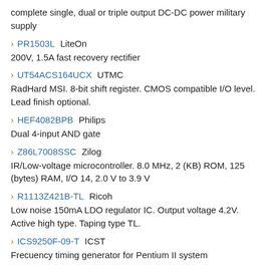complete single, dual or triple output DC-DC power military supply
PR1503L LiteOn
200V, 1.5A fast recovery rectifier
UT54ACS164UCX UTMC
RadHard MSI. 8-bit shift register. CMOS compatible I/O level. Lead finish optional.
HEF4082BPB Philips
Dual 4-input AND gate
Z86L7008SSC Zilog
IR/Low-voltage microcontroller. 8.0 MHz, 2 (KB) ROM, 125 (bytes) RAM, I/O 14, 2.0 V to 3.9 V
R1113Z421B-TL Ricoh
Low noise 150mA LDO regulator IC. Output voltage 4.2V. Active high type. Taping type TL.
ICS9250F-09-T ICST
Frecuency timing generator for Pentium II system
HG3-AC12V Nais